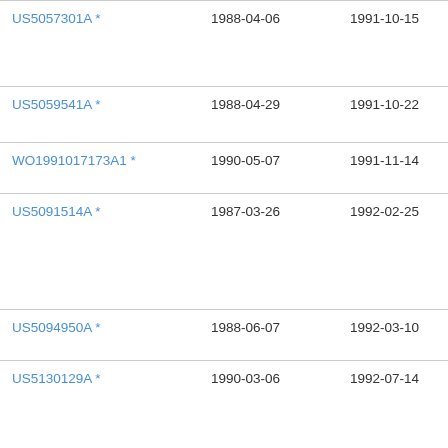| Patent Number | Filed | Published | Assignee |
| --- | --- | --- | --- |
| US5057301A * | 1988-04-06 | 1991-10-15 | Ne… |
| US5059541A * | 1988-04-29 | 1991-10-22 | Ne… |
| WO1991017173A1 * | 1990-05-07 | 1991-11-14 | Cyt… Cor… |
| US5091514A * | 1987-03-26 | 1992-02-25 | Ne… |
| US5094950A * | 1988-06-07 | 1992-03-10 | Nih… Co.… |
| US5130129A * | 1990-03-06 | 1992-07-14 | The… The… Ca… |